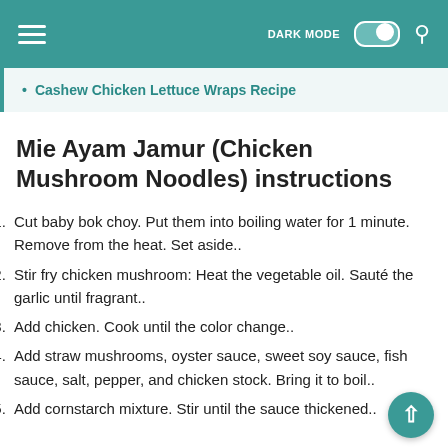DARK MODE [toggle] [search]
Cashew Chicken Lettuce Wraps Recipe
Mie Ayam Jamur (Chicken Mushroom Noodles) instructions
1. Cut baby bok choy. Put them into boiling water for 1 minute. Remove from the heat. Set aside..
2. Stir fry chicken mushroom: Heat the vegetable oil. Sauté the garlic until fragrant..
3. Add chicken. Cook until the color change..
4. Add straw mushrooms, oyster sauce, sweet soy sauce, fish sauce, salt, pepper, and chicken stock. Bring it to boil..
5. Add cornstarch mixture. Stir until the sauce thickened..